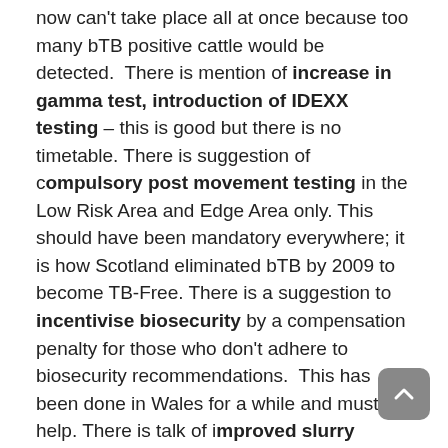now can't take place all at once because too many bTB positive cattle would be detected.  There is mention of increase in gamma test, introduction of IDEXX testing – this is good but there is no timetable. There is suggestion of compulsory post movement testing in the Low Risk Area and Edge Area only. This should have been mandatory everywhere; it is how Scotland eliminated bTB by 2009 to become TB-Free. There is a suggestion to incentivise biosecurity by a compensation penalty for those who don't adhere to biosecurity recommendations.  This has been done in Wales for a while and must help. There is talk of improved slurry management – this is good, but large scale applied research is needed not just small scale investigations.
Most noticeable of all the above is a lack of detail as to the extent of any action and clear timetable for